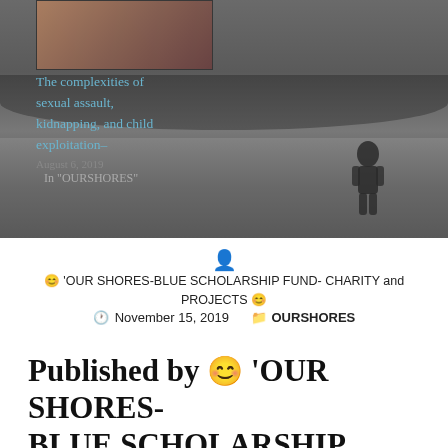[Figure (photo): Grayscale hero image showing a field/countryside landscape with tree silhouettes in the background. A small thumbnail image of a person is visible in the top-left corner of the hero area. A child's silhouette is visible in the bottom-right of the hero image. Overlaid text mentions 'The complexities of sexual assault, kidnapping, and child exploitation-' with a date and 'In OURSHORES' tag.]
The complexities of sexual assault, kidnapping, and child exploitation-
In "OURSHORES"
😊 'OUR SHORES-BLUE SCHOLARSHIP FUND- CHARITY and PROJECTS 😊
🕐 November 15, 2019  📁 OURSHORES
Published by 😊 'OUR SHORES-BLUE SCHOLARSHIP FUND-